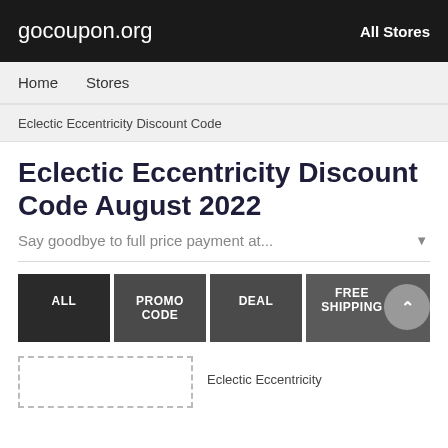gocoupon.org   All Stores
Home   Stores
Eclectic Eccentricity Discount Code
Eclectic Eccentricity Discount Code August 2022
Say goodbye to full price payment at...
ALL   PROMO CODE   DEAL   FREE SHIPPING